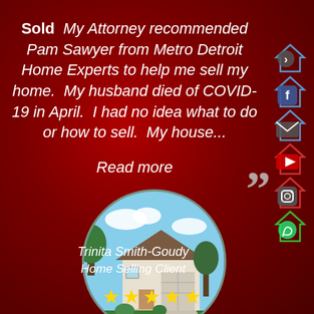Sold My Attorney recommended Pam Sawyer from Metro Detroit Home Experts to help me sell my home. My husband died of COVID-19 in April. I had no idea what to do or how to sell. My house... Read more
[Figure (photo): Circular photo of a house with a two-car garage, green lawn, and trees in the background]
Trinita Smith-Goudy
Home Selling Client
[Figure (infographic): Five gold star rating icons at the bottom of the card]
[Figure (infographic): Right sidebar with social media icons: navigation arrow, Facebook, email/envelope, YouTube, Instagram, WhatsApp — each overlaid on a house logo icon]